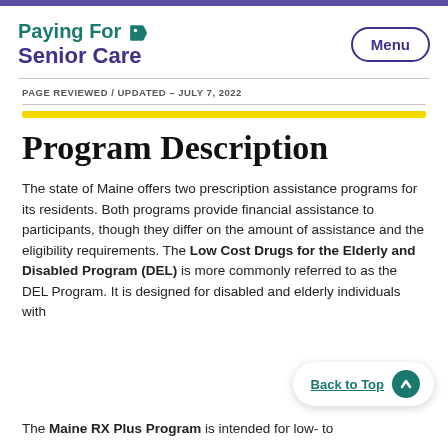Paying For Senior Care
PAGE REVIEWED / UPDATED – JULY 7, 2022
Program Description
The state of Maine offers two prescription assistance programs for its residents. Both programs provide financial assistance to participants, though they differ on the amount of assistance and the eligibility requirements. The Low Cost Drugs for the Elderly and Disabled Program (DEL) is more commonly referred to as the DEL Program. It is designed for disabled and elderly individuals with
The Maine RX Plus Program is intended for low- to